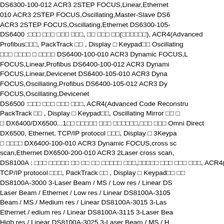DS6300-100-012 ACR3 2STEP FOCUS,Linear,Ethernet ... DS6300-105-010 ACR3 2STEP FOCUS,Oscillating,Master-Slave DS6... ACR3 2STEP FOCUS,Oscillating,Ethernet DS6300-105-... DS6400 : ... ACR4(Advanced ... Profibus..., PackTrack ..., Display & Keypad... Oscillating... DS6400-100-010 ACR3 Dynamic FOCUS,L... FOCUS,Linear,Profibus DS6400-100-012 ACR3 Dynami... FOCUS,Linear,Devicenet DS6400-105-010 ACR3 Dyna... FOCUS,Oscillating,Profibus DS6400-105-012 ACR3 Dy... FOCUS,Oscillating,Devicenet DS6500 :... ACR4(Advanced Code Reonstru... PackTrack ..., Display & Keypad..., Oscillating Mirror ... DX6400/DX6500...1... Omni Direct... DX6500, Ethernet, TCP/IP protocol ..., Display & 3Keypa... DX6400-100-010 ACR3 Dynamic FOCUS,cross sc... scan,Ethernet DX6500-200-010 ACR3 2Laser cross scan, DS8100A :... ACR4(... TCP/IP protocol ..., PackTrack ..., Display & Keypad... DS8100A-3000 3-Laser Beam / MS / Low res / Linear DS... Laser Beam / Ethernet / Low res / Linear DS8100A-3105... Beam / MS / Medium res / Linear DS8100A-3015 3-Las... Ethernet / edium res / Linear DS8100A-3115 3-Laser Bea... High res / Linear DS8100A-3025 3-Laser Beam / MS / H... Linear DS8100A-3125 3-Laser Beam / Ethernet / High re... DS8100A-3035 3-Laser Beam / MS / Very High res / Osc... DS8100A-3135 3-Laser Beam / Ethernet / Very High res ... DX8200A :... Omni Direction... Ethernet, TCP/IP protocol ..., PackTrack ..., Display... DX8200A-3010 3-Laser... Medium res / MS / ... DX8200A-3110 3-...